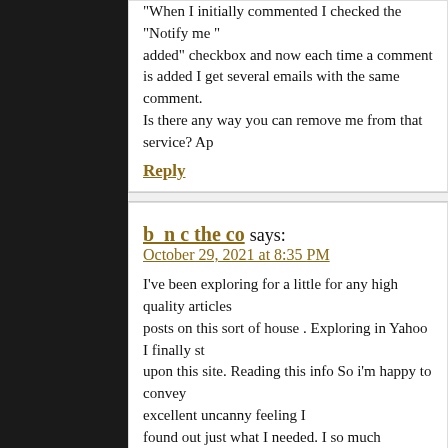When I initially commented I checked the "Notify me" added" checkbox and now each time a comment is added I get several emails with the same comment. Is there any way you can remove me from that service? Ap
Reply
b n c the co says:
October 29, 2021 at 8:35 PM
I've been exploring for a little for any high quality articles posts on this sort of house . Exploring in Yahoo I finally st upon this site. Reading this info So i'm happy to convey excellent uncanny feeling I found out just what I needed. I so much definitely will ma to don?t disregard this site and provides it a glance regular
Reply
B n C